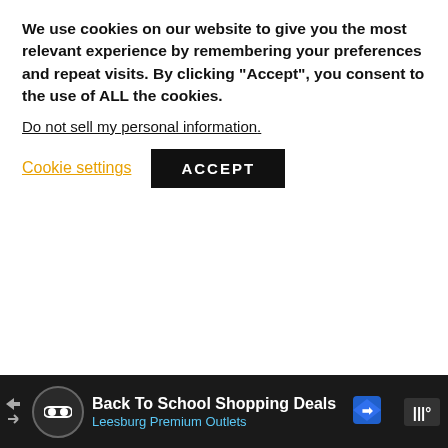We use cookies on our website to give you the most relevant experience by remembering your preferences and repeat visits. By clicking “Accept”, you consent to the use of ALL the cookies.
Do not sell my personal information.
Cookie settings
ACCEPT
|  |  |
| --- | --- |
| Customer Rating | ★★★★☆ |
| Price Rating | $ |
| Details | INFANZIA Price |
Best Value
Back To School Shopping Deals
Leesburg Premium Outlets